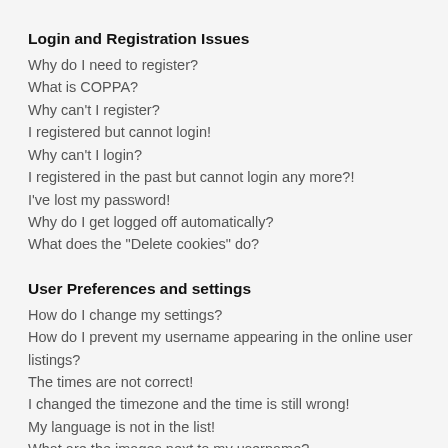Login and Registration Issues
Why do I need to register?
What is COPPA?
Why can't I register?
I registered but cannot login!
Why can't I login?
I registered in the past but cannot login any more?!
I've lost my password!
Why do I get logged off automatically?
What does the "Delete cookies" do?
User Preferences and settings
How do I change my settings?
How do I prevent my username appearing in the online user listings?
The times are not correct!
I changed the timezone and the time is still wrong!
My language is not in the list!
What are the images next to my username?
How do I display an avatar?
What is my rank and how do I change it?
When I click the email link for a user it asks me to login?